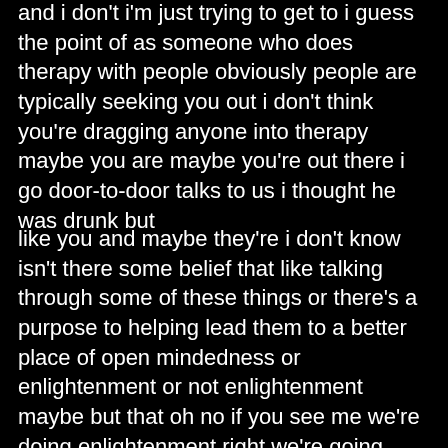and i don't i'm just trying to get to i guess the point of as someone who does therapy with people obviously people are typically seeking you out i don't think you're dragging anyone into therapy maybe you are maybe you're out there i go door-to-door talks to us i thought he was drunk but
like you and maybe they're i don't know isn't there some belief that like talking through some of these things or there's a purpose to helping lead them to a better place of open mindedness or enlightenment or not enlightenment maybe but that oh no if you see me we're doing enlightenment right we're going there no i'm just kidding but i mean when people come to you just i mean i i can't imagine you just go oh that's cool the the okay you see feel the therapy to will be you to ll